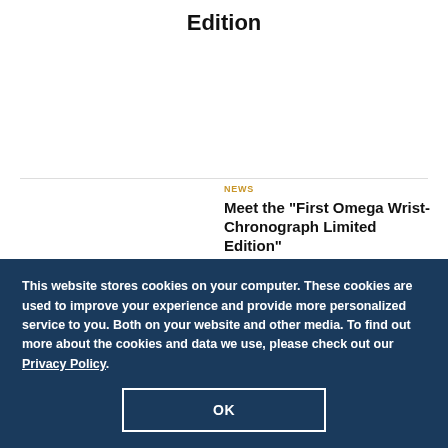Edition
NEWS
Meet the “First Omega Wrist-Chronograph Limited Edition”
This website stores cookies on your computer. These cookies are used to improve your experience and provide more personalized service to you. Both on your website and other media. To find out more about the cookies and data we use, please check out our Privacy Policy.
OK